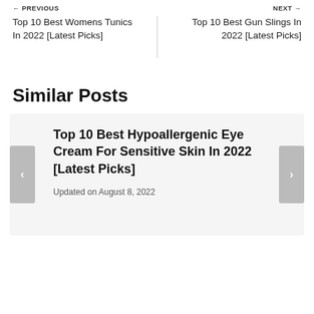← PREVIOUS
NEXT →
Top 10 Best Womens Tunics In 2022 [Latest Picks]
Top 10 Best Gun Slings In 2022 [Latest Picks]
Similar Posts
Top 10 Best Hypoallergenic Eye Cream For Sensitive Skin In 2022 [Latest Picks]
Updated on August 8, 2022